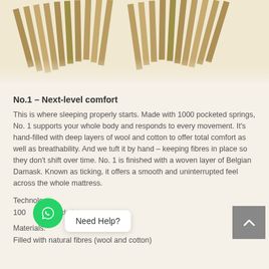[Figure (photo): Photograph of a mattress showing a wooden chevron/herringbone pattern interior construction viewed from above, with natural wood tones]
No.1 – Next-level comfort
This is where sleeping properly starts. Made with 1000 pocketed springs, No. 1 supports your whole body and responds to every movement. It's hand-filled with deep layers of wool and cotton to offer total comfort as well as breathability. And we tuft it by hand – keeping fibres in place so they don't shift over time. No. 1 is finished with a woven layer of Belgian Damask. Known as ticking, it offers a smooth and uninterrupted feel across the whole mattress.
Technology:
1000 pocketed springs
Materials:
Filled with natural fibres (wool and cotton)